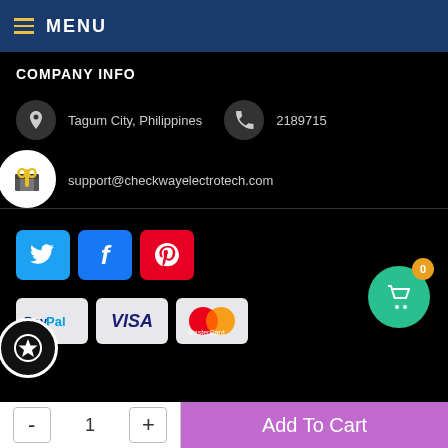MENU
COMPANY INFO
Tagum City, Philippines   2189715
support@checkwayelectrotech.com
[Figure (screenshot): Social media icons for Twitter, Facebook, Pinterest and payment method logos: PayPal, Visa, MasterCard]
Teclast P80X 8.0 Inch Android 9.0 Tablet + 4G Phone $7,412.41
- 1 + Add To Cart